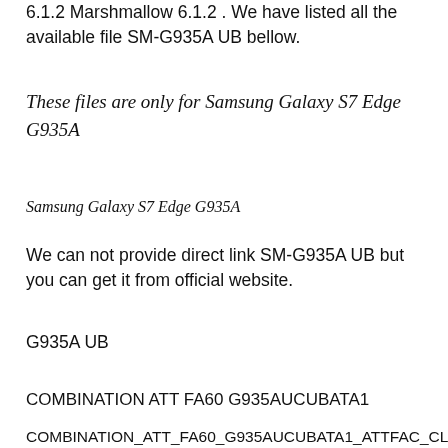6.1.2 Marshmallow 6.1.2 . We have listed all the available file SM-G935A UB bellow.
These files are only for Samsung Galaxy S7 Edge G935A
Samsung Galaxy S7 Edge G935A
We can not provide direct link SM-G935A UB but you can get it from official website.
G935A UB
COMBINATION ATT FA60 G935AUCUBATA1
COMBINATION_ATT_FA60_G935AUCUBATA1_ATTFAC_CL11071963_QB28730124_REV02_user_mid_noship_MULTI_CERT.tar.md5.zip